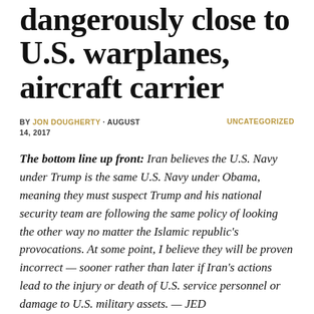dangerously close to U.S. warplanes, aircraft carrier
BY JON DOUGHERTY • AUGUST 14, 2017    UNCATEGORIZED
The bottom line up front: Iran believes the U.S. Navy under Trump is the same U.S. Navy under Obama, meaning they must suspect Trump and his national security team are following the same policy of looking the other way no matter the Islamic republic's provocations. At some point, I believe they will be proven incorrect — sooner rather than later if Iran's actions lead to the injury or death of U.S. service personnel or damage to U.S. military assets. — JED